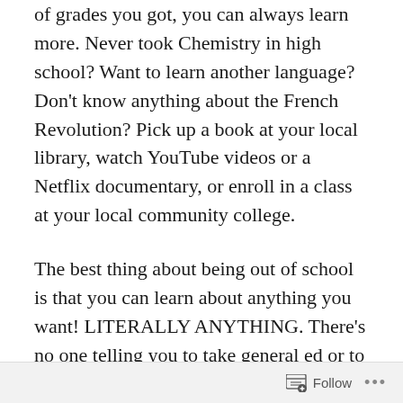of grades you got, you can always learn more. Never took Chemistry in high school? Want to learn another language? Don't know anything about the French Revolution? Pick up a book at your local library, watch YouTube videos or a Netflix documentary, or enroll in a class at your local community college.
The best thing about being out of school is that you can learn about anything you want! LITERALLY ANYTHING. There's no one telling you to take general ed or to follow a course of study. There's nothing stopping you from picking up a book or watching an online lecture. You can audit classes and listen to the
Follow